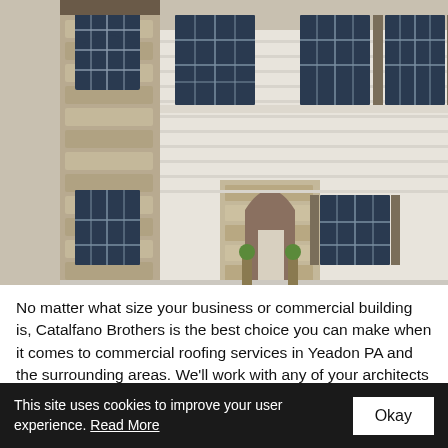[Figure (photo): Exterior photo of a large residential or commercial building facade with stone columns, arched entryway, white siding, multiple windows with dark shutters, and decorative planters.]
No matter what size your business or commercial building is, Catalfano Brothers is the best choice you can make when it comes to commercial roofing services in Yeadon PA and the surrounding areas. We'll work with any of your architects and contractors to develop a customized roofing plan for your new commercial construction. Or, if you are the proud owner of an existing commercial structure requiring roofing, roof repair, gutter cleaning...
This site uses cookies to improve your user experience. Read More